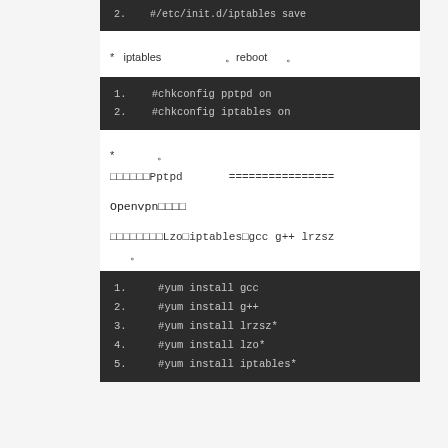2.   #/etc/init.d/iptables save
* iptables 。reboot 。
1.   #chkconfig pptpd on
2.   #chkconfig iptables on
* 。
□□□□□□Pptpd ================
Openvpn□□□□
□□□□□□□□Lzo□iptables□gcc g++ lrzsz 。
1.   #yum install gcc
2.   #yum install g++
3.   #yum install lrzsz*
4.   #yum install lzo*
5.   #yum install iptables*